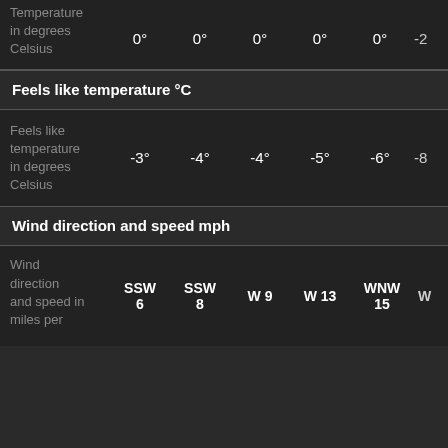|  | Col1 | Col2 | Col3 | Col4 | Col5 | Col6+ |
| --- | --- | --- | --- | --- | --- | --- |
| Temperature in degrees Celsius | 0° | 0° | 0° | 0° | 0° | -2 |
| Feels like temperature °C (header) |  |  |  |  |  |  |
| Feels like temperature in degrees Celsius | -3° | -4° | -4° | -5° | -6° | -8 |
| Wind direction and speed mph (header) |  |  |  |  |  |  |
| Wind direction and speed in miles per... | SSW 6 | SSW 8 | W 9 | W 13 | WNW 15 | W |